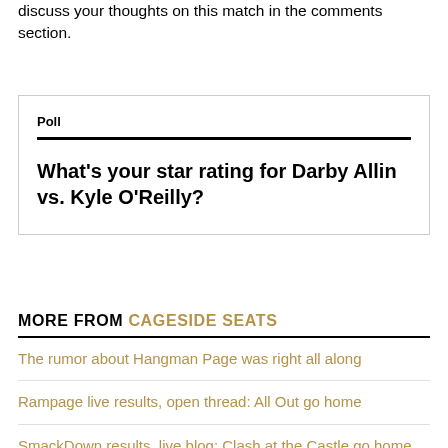discuss your thoughts on this match in the comments section.
Poll
What's your star rating for Darby Allin vs. Kyle O'Reilly?
MORE FROM CAGESIDE SEATS
The rumor about Hangman Page was right all along
Rampage live results, open thread: All Out go home
SmackDown results, live blog: Clash at the Castle go home show